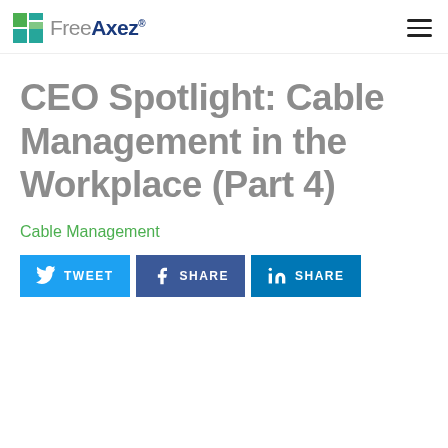FreeAxez
CEO Spotlight: Cable Management in the Workplace (Part 4)
Cable Management
[Figure (infographic): Social share buttons row: Twitter TWEET, Facebook SHARE, LinkedIn SHARE]